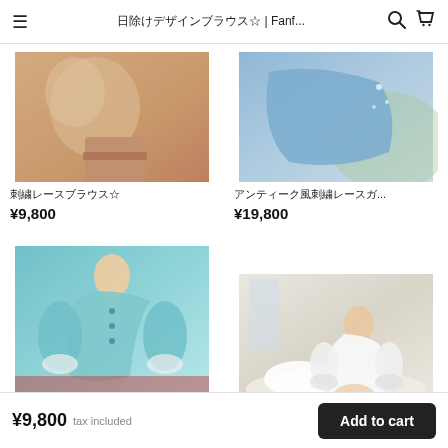日除けデザインブラウス☆ | Fanf...
[Figure (photo): Product photo of a beige/cream lace blouse with puffed sleeves on a model]
刺繍レースブラウス☆
¥9,800
[Figure (photo): Product photo of a blue lace cardigan/cape worn outdoors]
アンティーク風刺繍レースガ...
¥19,800
[Figure (photo): Product photo of a teal/mint lace blouse with lantern sleeves on a model]
[Figure (photo): Product photo of a white lace blouse on a model sitting on a bed]
¥9,800 tax included  Add to cart